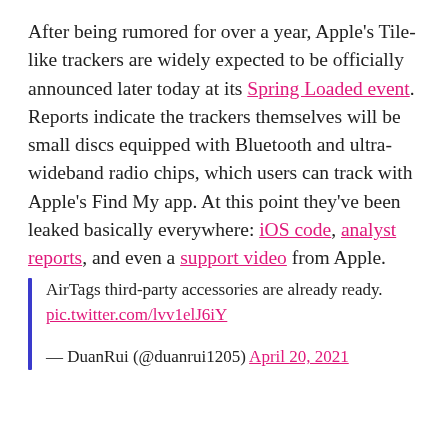After being rumored for over a year, Apple's Tile-like trackers are widely expected to be officially announced later today at its Spring Loaded event. Reports indicate the trackers themselves will be small discs equipped with Bluetooth and ultra-wideband radio chips, which users can track with Apple's Find My app. At this point they've been leaked basically everywhere: iOS code, analyst reports, and even a support video from Apple.
AirTags third-party accessories are already ready. pic.twitter.com/lvv1elJ6iY
— DuanRui (@duanrui1205) April 20, 2021